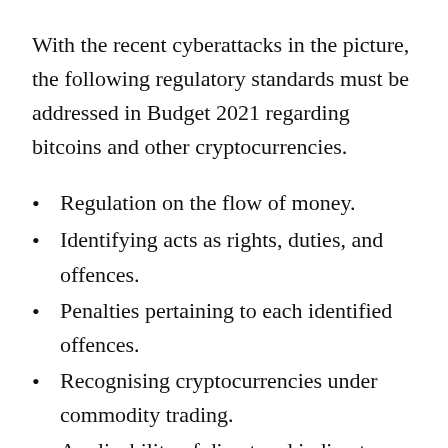With the recent cyberattacks in the picture, the following regulatory standards must be addressed in Budget 2021 regarding bitcoins and other cryptocurrencies.
Regulation on the flow of money.
Identifying acts as rights, duties, and offences.
Penalties pertaining to each identified offences.
Recognising cryptocurrencies under commodity trading.
Applicability of direct and indirect taxes.
Keeping the government informed about